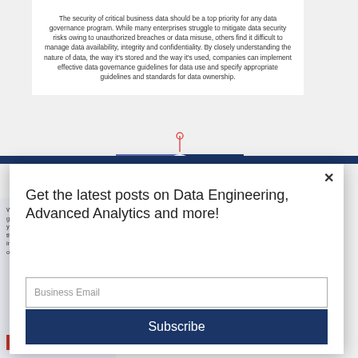The security of critical business data should be a top priority for any data governance program. While many enterprises struggle to mitigate data security risks owing to unauthorized breaches or data misuse, others find it difficult to manage data availability, integrity and confidentiality. By closely understanding the nature of data, the way it's stored and the way it's used, companies can implement effective data governance guidelines for data use and specify appropriate guidelines and standards for data ownership.
[Figure (infographic): Circular infographic showing a dark navy and purple pie/donut segment diagram with a shield icon in the center top, and a small red pin/dot at the top. Represents data security or governance categories.]
Welco... give y... your p... the us... intere... our Co...
[Figure (screenshot): Modal popup overlay with close X button, heading 'Get the latest posts on Data Engineering, Advanced Analytics and more!', a Business Email input field, and a Subscribe button.]